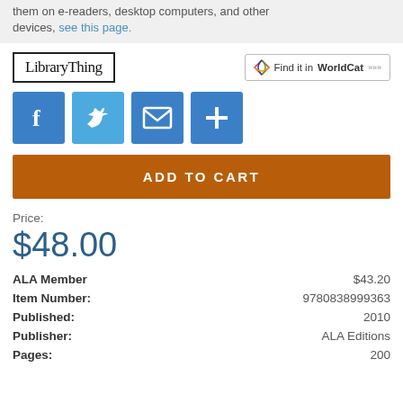them on e-readers, desktop computers, and other devices, see this page.
[Figure (logo): LibraryThing logo with border]
[Figure (logo): Find it in WorldCat logo]
[Figure (infographic): Social sharing buttons: Facebook, Twitter, Email, More]
ADD TO CART
Price:
$48.00
|  |  |
| --- | --- |
| ALA Member | $43.20 |
| Item Number: | 9780838999363 |
| Published: | 2010 |
| Publisher: | ALA Editions |
| Pages: | 200 |